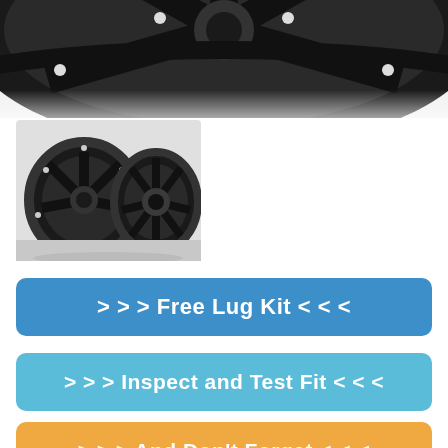[Figure (photo): Close-up of a black alloy wheel rim with bolt holes, shown from an angled top-down perspective on white background.]
[Figure (photo): Two black alloy wheels shown at an angle side by side — one from the back/side and one from the front, both with star-spoke design and lug nut holes.]
> > > Free Lug Kit < < <
> > > Free Shipping < < <
> > > Inspect and Test Fit < < <
> > > And Don't Forget < < <